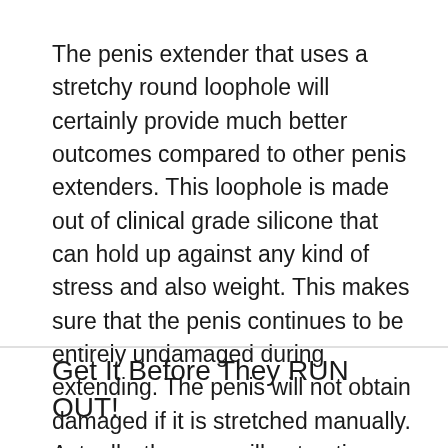The penis extender that uses a stretchy round loophole will certainly provide much better outcomes compared to other penis extenders. This loophole is made out of clinical grade silicone that can hold up against any kind of stress and also weight. This makes sure that the penis continues to be entirely undamaged during extending. The penis will not obtain damaged if it is stretched manually. Actually, the user will not notice any kind of adjustment in his girth and length.
Get It Before They RUN OUT!